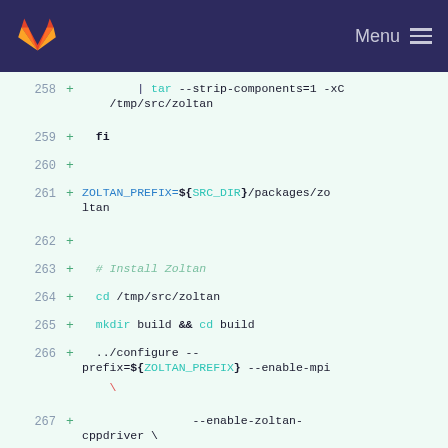Menu
[Figure (screenshot): GitLab diff view showing shell script lines 258-269 with added lines (+) for tar, fi, ZOLTAN_PREFIX, Install Zoltan comment, cd, mkdir, ../configure, --enable-zoltan-cppdriver, --with-cxxflags, --with-cflags, --with-fcflags options]
258 + | tar --strip-components=1 -xC /tmp/src/zoltan
259 + fi
260 +
261 + ZOLTAN_PREFIX=${SRC_DIR}/packages/zoltan
262 +
263 + # Install Zoltan
264 + cd /tmp/src/zoltan
265 + mkdir build && cd build
266 + ../configure --prefix=${ZOLTAN_PREFIX} --enable-mpi \
267 + --enable-zoltan-cppdriver \
268 + --with-cxxflags="-std=c++11 -fpic" \
269 + --with-cflags="-fpic" --with-fcflags="-fpic" \